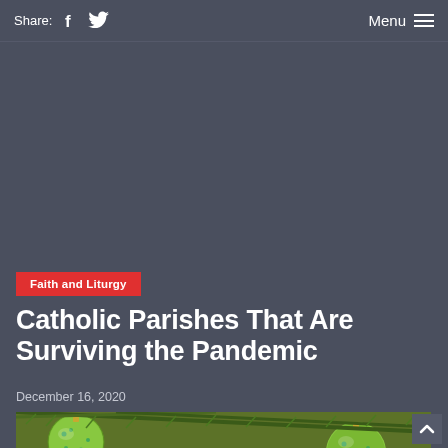Share: [Facebook] [Twitter]   Menu ☰
Faith and Liturgy
Catholic Parishes That Are Surviving the Pandemic
December 16, 2020
[Figure (photo): Christmas ornaments — green and gold decorative balls with pine branches]